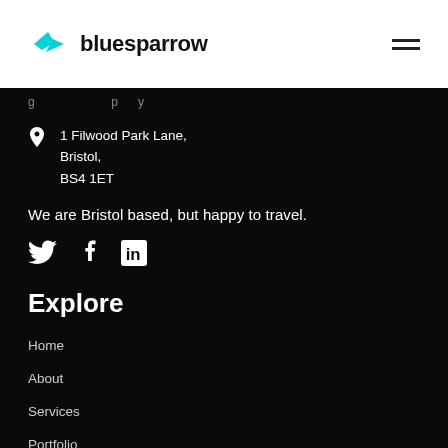[Figure (logo): Bluesparrow logo with cyan bird/arrow icon and bold text 'bluesparrow']
1 Filwood Park Lane,
Bristol,
BS4 1ET
We are Bristol based, but happy to travel.
[Figure (infographic): Social media icons: Twitter bird, Facebook f, LinkedIn in]
Explore
Home
About
Services
Portfolio